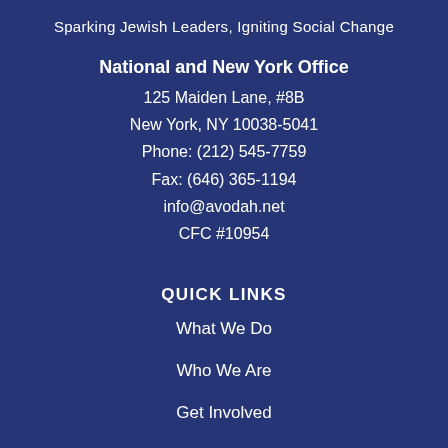Sparking Jewish Leaders, Igniting Social Change
National and New York Office
125 Maiden Lane, #8B
New York, NY 10038-5041
Phone: (212) 545-7759
Fax: (646) 365-1194
info@avodah.net
CFC #10954
QUICK LINKS
What We Do
Who We Are
Get Involved